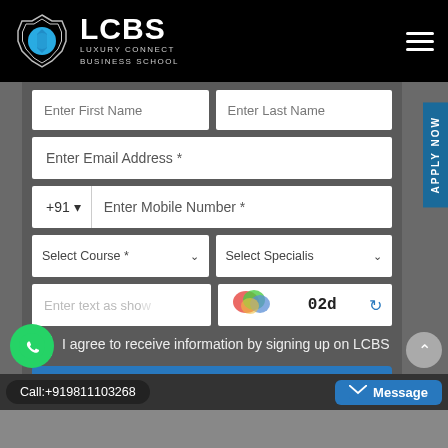[Figure (logo): LCBS Luxury Connect Business School logo with geometric flower icon on black header bar]
[Figure (screenshot): Web form with fields: Enter First Name, Enter Last Name, Enter Email Address, +91 phone with Enter Mobile Number, Select Course dropdown, Select Specialisation dropdown, CAPTCHA text input and image showing 02d, checkbox agreeing to receive information by signing up on LCBS, Submit button]
I agree to receive information by signing up on LCBS
Submit
Call:+919811103268
Message